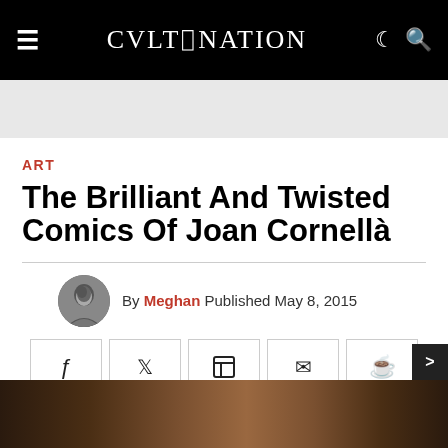CVLT NATION
ART
The Brilliant And Twisted Comics Of Joan Cornellà
By Meghan Published May 8, 2015
[Figure (infographic): Social share buttons row: Facebook, Twitter, Flipboard, Email, Comment icons in bordered boxes]
[Figure (photo): Partial view of dark reddish-brown image at the bottom of the page, partially visible]